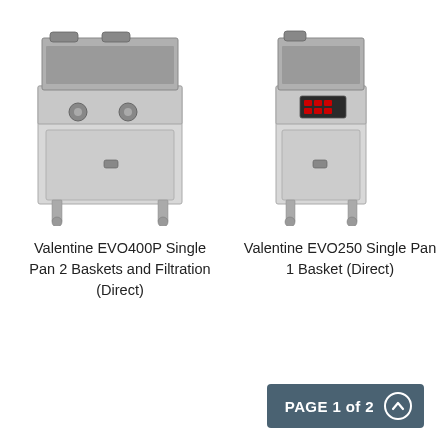[Figure (photo): Valentine EVO400P Single Pan 2 Baskets and Filtration (Direct) - commercial floor fryer, stainless steel, wide body with two knobs and cabinet door]
Valentine EVO400P Single Pan 2 Baskets and Filtration (Direct)
[Figure (photo): Valentine EVO250 Single Pan 1 Basket (Direct) - commercial floor fryer, stainless steel, narrow body with digital display panel and cabinet door]
Valentine EVO250 Single Pan 1 Basket (Direct)
PAGE 1 of 2